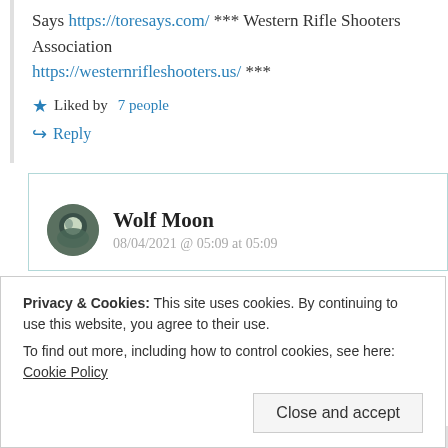Says https://toresays.com/ *** Western Rifle Shooters Association https://westernrifleshooters.us/ ***
★ Liked by 7 people
↪ Reply
Wolf Moon
08/04/2021 @ 05:09 at 05:09
Privacy & Cookies: This site uses cookies. By continuing to use this website, you agree to their use.
To find out more, including how to control cookies, see here: Cookie Policy